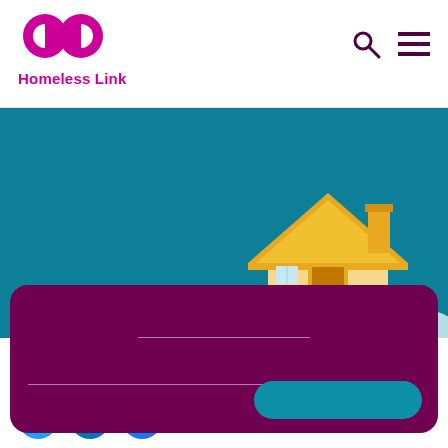[Figure (logo): Homeless Link logo with infinity symbol in pink/magenta and text 'Homeless Link' below]
[Figure (illustration): Illustrated house with yellow roof, walls, door and chimney on teal background with a small figure nearby]
[Figure (infographic): Dark purple rounded card with search/input fields (white lines) and a teal rounded button]
[Figure (illustration): Social media icons for Twitter, LinkedIn, and Facebook at the bottom of the page]